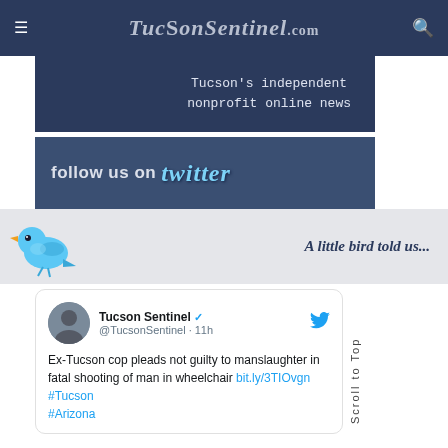TucsonSentinel.com
[Figure (illustration): Tucson Sentinel banner: Tucson's independent nonprofit online news]
[Figure (illustration): Follow us on Twitter banner with Twitter logo text in blue]
[Figure (illustration): Twitter bird icon with text 'A little bird told us...' on grey background]
Tucson Sentinel @TucsonSentinel · 11h — Ex-Tucson cop pleads not guilty to manslaughter in fatal shooting of man in wheelchair bit.ly/3TIOvgn #Tucson #Arizona